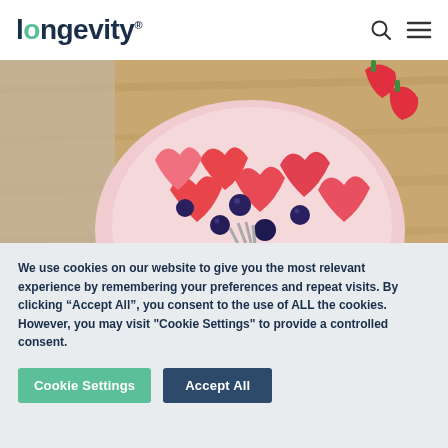longevity®
[Figure (photo): A bowl of mixed fruits including watermelon hearts, blueberries, and strawberries with a fork, on a wooden cutting board]
Its juice is known to ease muscle
We use cookies on our website to give you the most relevant experience by remembering your preferences and repeat visits. By clicking "Accept All", you consent to the use of ALL the cookies. However, you may visit "Cookie Settings" to provide a controlled consent.